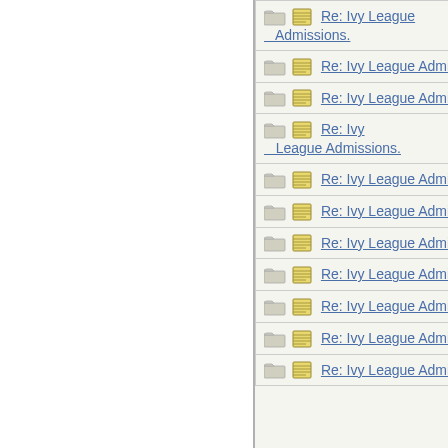| Thread | Author |
| --- | --- |
| Re: Ivy League Admissions. | JonLaw |
| Re: Ivy League Admissions. | HowlerK |
| Re: Ivy League Admissions. | HowlerK |
| Re: Ivy League Admissions. | HowlerK |
| Re: Ivy League Admissions. | HowlerK |
| Re: Ivy League Admissions. | HowlerK |
| Re: Ivy League Admissions. | HowlerK |
| Re: Ivy League Admissions. | Wren |
| Re: Ivy League Admissions. | aquinas |
| Re: Ivy League Admissions. | Wren |
| Re: Ivy League Admissions. | NotSoGi |